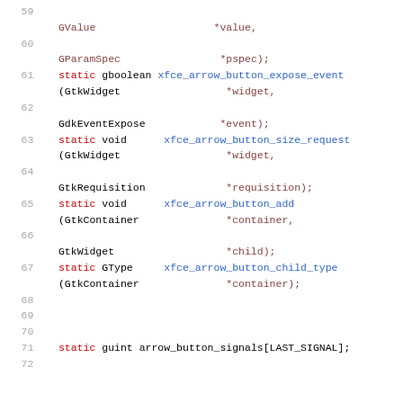[Figure (screenshot): Source code listing showing C function declarations with line numbers 59-71. Code uses monospace font with syntax highlighting: keywords in red, function names in blue, types in default dark color.]